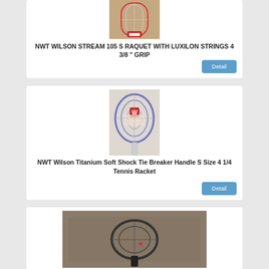[Figure (photo): Photo of a Wilson Stream 105 S tennis racquet with Luxilon strings, red and white, placed on carpet with packaging]
NWT WILSON STREAM 105 S RAQUET WITH LUXILON STRINGS 4 3/8 " GRIP
[Figure (photo): Photo of a Wilson Titanium Soft Shock Tie Breaker tennis racket, white and purple, with Wilson logo visible, on white background]
NWT Wilson Titanium Soft Shock Tie Breaker Handle S Size 4 1/4 Tennis Racket
[Figure (photo): Photo of a dark tennis racket on fuzzy brown/gray carpet surface]